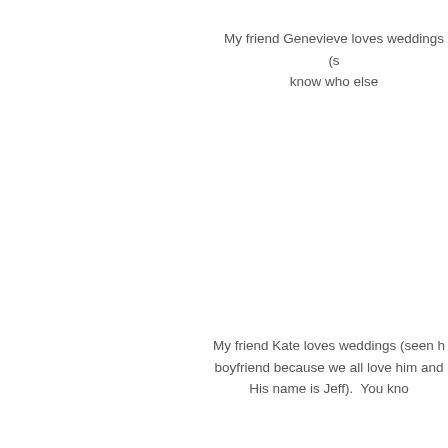My friend Genevieve loves weddings (s know who else
My friend Kate loves weddings (seen h boyfriend because we all love him and His name is Jeff).  You kno